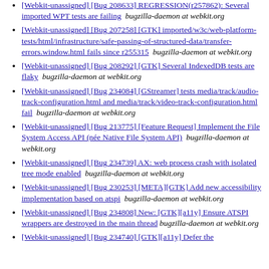[Webkit-unassigned] [Bug 208633] REGRESSION(r257862): Several imported WPT tests are failing  bugzilla-daemon at webkit.org
[Webkit-unassigned] [Bug 207258] [GTK] imported/w3c/web-platform-tests/html/infrastructure/safe-passing-of-structured-data/transfer-errors.window.html fails since r255315  bugzilla-daemon at webkit.org
[Webkit-unassigned] [Bug 208292] [GTK] Several IndexedDB tests are flaky  bugzilla-daemon at webkit.org
[Webkit-unassigned] [Bug 234084] [GStreamer] tests media/track/audio-track-configuration.html and media/track/video-track-configuration.html fail  bugzilla-daemon at webkit.org
[Webkit-unassigned] [Bug 213775] [Feature Request] Implement the File System Access API (née Native File System API)  bugzilla-daemon at webkit.org
[Webkit-unassigned] [Bug 234739] AX: web process crash with isolated tree mode enabled  bugzilla-daemon at webkit.org
[Webkit-unassigned] [Bug 230253] [META][GTK] Add new accessibility implementation based on atspi  bugzilla-daemon at webkit.org
[Webkit-unassigned] [Bug 234808] New: [GTK][a11y] Ensure ATSPI wrappers are destroyed in the main thread  bugzilla-daemon at webkit.org
[Webkit-unassigned] [Bug 234740] [GTK][a11y] Defer the...